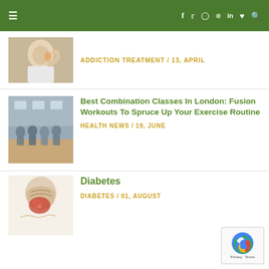Navigation bar with menu, social icons (f, twitter, instagram, pinterest, linkedin, heart, search)
[Figure (photo): Person holding back of neck in pain]
ADDICTION TREATMENT / 13, APRIL
[Figure (photo): Group fitness class in a gym studio]
Best Combination Classes In London: Fusion Workouts To Spruce Up Your Exercise Routine
HEALTH NEWS / 19, JUNE
[Figure (illustration): Medical illustration of human torso showing digestive/pancreas anatomy related to diabetes]
Diabetes
DIABETES / 01, AUGUST